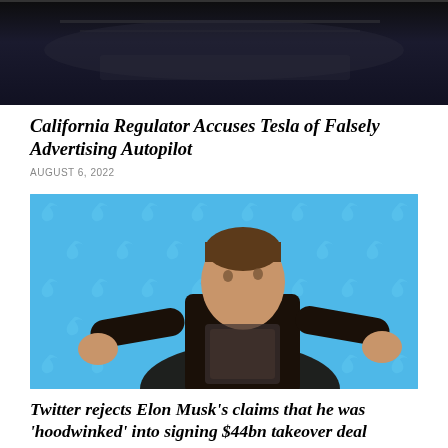[Figure (photo): Dark background photo, appears to be a concert or stage setting with dark tones]
California Regulator Accuses Tesla of Falsely Advertising Autopilot
AUGUST 6, 2022
[Figure (photo): Photo of Elon Musk in front of a blue Twitter bird logo background, wearing a dark leather jacket, making a shrugging gesture]
Twitter rejects Elon Musk's claims that he was 'hoodwinked' into signing $44bn takeover deal